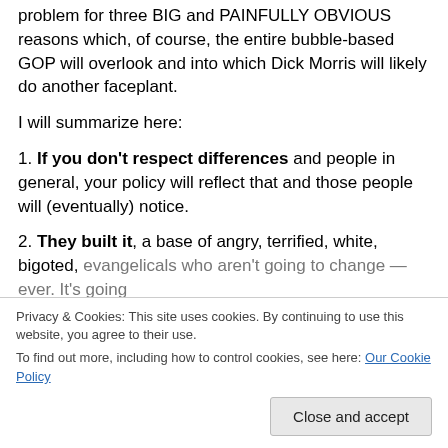problem for three BIG and PAINFULLY OBVIOUS reasons which, of course, the entire bubble-based GOP will overlook and into which Dick Morris will likely do another faceplant.
I will summarize here:
1. If you don't respect differences and people in general, your policy will reflect that and those people will (eventually) notice.
2. They built it, a base of angry, terrified, white, bigoted, evangelicals who aren't going to change — ever. It's going
corporations are their own worst, lied, fed and always
Privacy & Cookies: This site uses cookies. By continuing to use this website, you agree to their use.
To find out more, including how to control cookies, see here: Our Cookie Policy